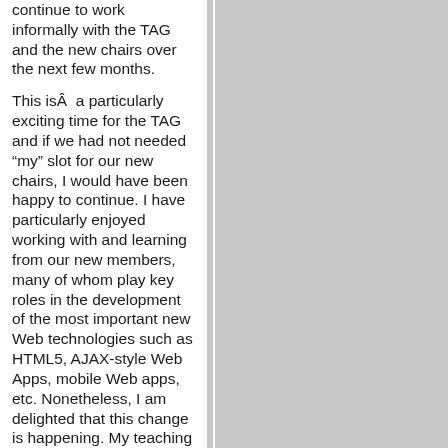continue to work informally with the TAG and the new chairs over the next few months.

This isÂ  a particularly exciting time for the TAG and if we had not needed “my” slot for our new chairs, I would have been happy to continue. I have particularly enjoyed working with and learning from our new members, many of whom play key roles in the development of the most important new Web technologies such as HTML5, AJAX-style Web Apps, mobile Web apps, etc. Nonetheless, I am delighted that this change is happening. My teaching responsibilities are increasingly taking time that would otherwise go to the TAG, and have prevented me from